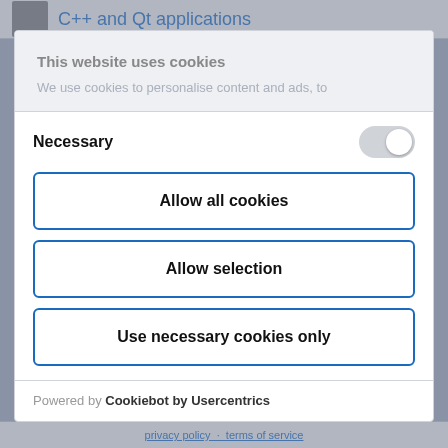C++ and Qt applications
This website uses cookies
We use cookies to personalise content and ads, to
Necessary
Allow all cookies
Allow selection
Use necessary cookies only
Powered by Cookiebot by Usercentrics